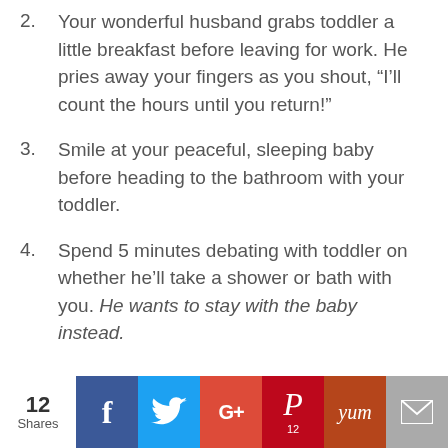2. Your wonderful husband grabs toddler a little breakfast before leaving for work. He pries away your fingers as you shout, “I’ll count the hours until you return!”
3. Smile at your peaceful, sleeping baby before heading to the bathroom with your toddler.
4. Spend 5 minutes debating with toddler on whether he’ll take a shower or bath with you. He wants to stay with the baby instead.
12 Shares | Facebook | Twitter | Google+ | Pinterest 12 | Yum | Email